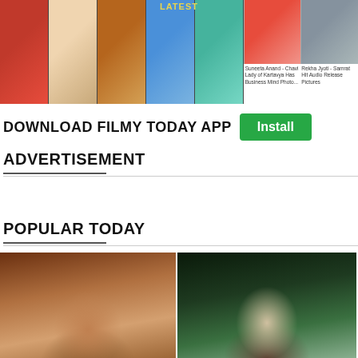[Figure (photo): Website banner strip showing celebrity photos with LATEST label at top]
DOWNLOAD FILMY TODAY APP
Install
ADVERTISEMENT
POPULAR TODAY
[Figure (photo): Close-up portrait of a Bollywood actress with brown highlighted hair and purple eye makeup]
[Figure (photo): Close-up portrait of a Bollywood actress with dark hair and natural makeup against green background]